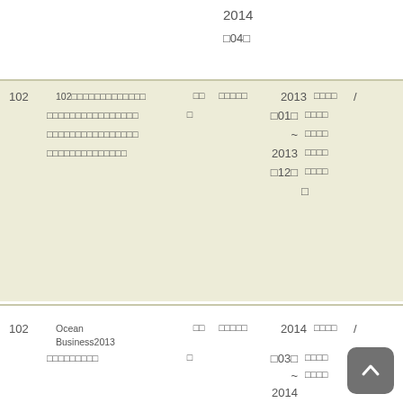2014
□04□
|  | Title | Type | Keyword | Date | Meta |  |
| --- | --- | --- | --- | --- | --- | --- |
| 102 | 102□□□□□□□□□□□□□ | □□ | □□□□□ | 2013 | □□□□ | / |
|  | □□□□□□□□□□□□□□□□ | □ |  | □01□ | □□□□ |  |
|  | □□□□□□□□□□□□□□□□ |  |  | ~ | □□□□ |  |
|  | □□□□□□□□□□□□□□ |  |  | 2013 | □□□□ |  |
|  |  |  |  | □12□ | □□□□ |  |
|  |  |  |  |  | □ |  |
| 102 | Ocean Business2013 | □□ | □□□□□ | 2014 | □□□□ | / |
|  | □□□□□□□□□ | □ |  | □03□ | □□□□ |  |
|  |  |  |  | ~ | □□□□ |  |
|  |  |  |  | 2014 |  |  |
|  |  |  |  | □03□ |  |  |